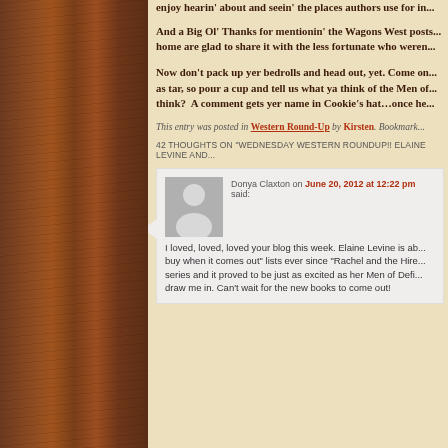enjoy hearin' about and seein' the places authors use for in...
And a Big Ol' Thanks for mentionin' the Wagons West posts... home are glad to share it with the less fortunate who weren...
Now don't pack up yer bedrolls and head out, yet. Come on... as tar, so pour a cup and tell us what ya think of the Men of... think?  A comment gets yer name in Cookie's hat...once he...
This entry was posted in Western Round-Up by Kirsten. Bookmark...
42 THOUGHTS ON "WEDNESDAY WESTERN ROUNDUP!! ELAINE LEVINE AND...
[Figure (other): Gray avatar/placeholder user image showing silhouette of person]
Donya Claxton on June 20, 2012 at 12:22 pm said:
I loved, loved, loved your blog this week. Elaine Levine is ab... buy when it comes out" lists ever since "Rachel and the Hire... series and it proved to be just as excited as her Men of Defi... draw me in. Can't wait for the new books to come out!